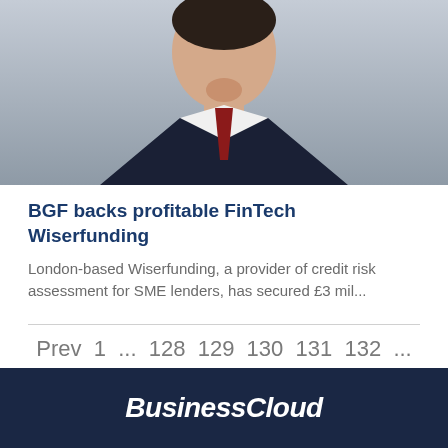[Figure (photo): Headshot of a young man in a dark suit with a dark red tie, smiling, against a grey background]
BGF backs profitable FinTech Wiserfunding
London-based Wiserfunding, a provider of credit risk assessment for SME lenders, has secured £3 mil...
Prev  1  ...  128  129  130  131  132  ...  240  Next
BusinessCloud